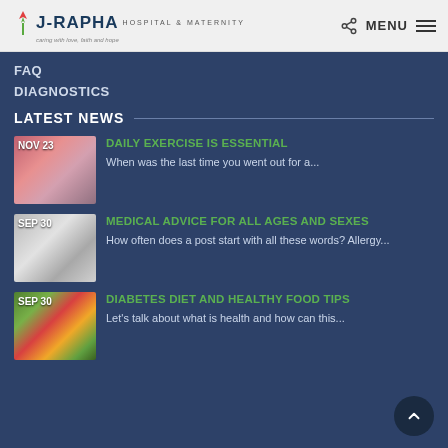J-Rapha Hospital & Maternity — caring with love, faith and hope
FAQ
DIAGNOSTICS
LATEST NEWS
[Figure (photo): Woman runner with date badge NOV 23]
DAILY EXERCISE IS ESSENTIAL
When was the last time you went out for a...
[Figure (photo): Pills/tablets with date badge SEP 30]
MEDICAL ADVICE FOR ALL AGES AND SEXES
How often does a post start with all these words? Allergy...
[Figure (photo): Healthy food/vegetables with date badge SEP 30]
DIABETES DIET AND HEALTHY FOOD TIPS
Let's talk about what is health and how can this...